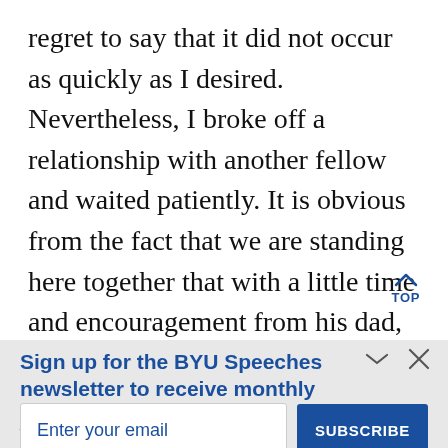regret to say that it did not occur as quickly as I desired. Nevertheless, I broke off a relationship with another fellow and waited patiently. It is obvious from the fact that we are standing here together that with a little time and encouragement from his dad, we dated and eventually married—one paren arranged marriage that was successful
Sign up for the BYU Speeches newsletter to receive monthly inspiration.
A little hope in your inbox.
Enter your email
SUBSCRIBE